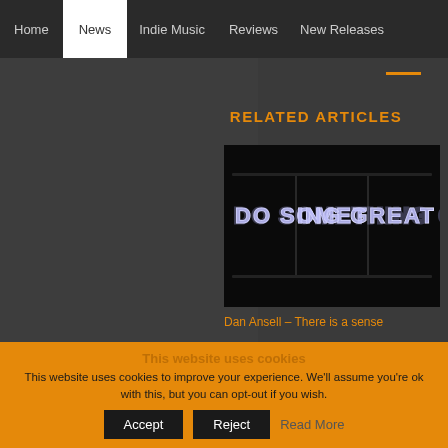Home | News | Indie Music | Reviews | New Releases
RELATED ARTICLES
[Figure (photo): Neon sign reading 'DO SOMETHING GREAT' in white neon letters on a black background]
Dan Ansell – There is a sense
This website uses cookies
This website uses cookies to improve your experience. We'll assume you're ok with this, but you can opt-out if you wish.
Accept | Reject | Read More